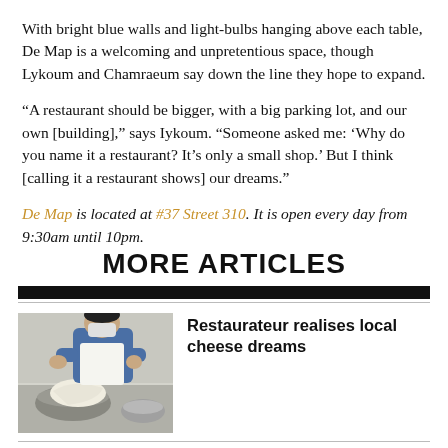With bright blue walls and light-bulbs hanging above each table, De Map is a welcoming and unpretentious space, though Lykoum and Chamraeum say down the line they hope to expand.
“A restaurant should be bigger, with a big parking lot, and our own [building],” says Iykoum. “Someone asked me: ‘Why do you name it a restaurant? It’s only a small shop.’ But I think [calling it a restaurant shows] our dreams.”
De Map is located at #37 Street 310. It is open every day from 9:30am until 10pm.
MORE ARTICLES
[Figure (photo): Person in white apron and blue shirt working with what appears to be cheese or dough in a kitchen setting, with metal bowls visible]
Restaurateur realises local cheese dreams